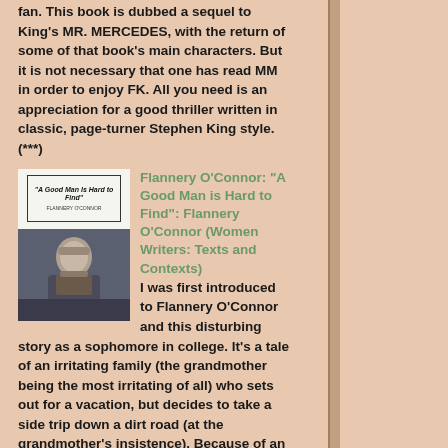fan. This book is dubbed a sequel to King's MR. MERCEDES, with the return of some of that book's main characters. But it is not necessary that one has read MM in order to enjoy FK. All you need is an appreciation for a good thriller written in classic, page-turner Stephen King style. (***)
[Figure (photo): Book cover of 'A Good Man is Hard to Find' by Flannery O'Connor, showing the book cover on top and a black and white photo of the author below.]
Flannery O'Connor: "A Good Man is Hard to Find": Flannery O'Connor (Women Writers: Texts and Contexts)
I was first introduced to Flannery O'Connor and this disturbing story as a sophomore in college. It's a tale of an irritating family (the grandmother being the most irritating of all) who sets out for a vacation, but decides to take a side trip down a dirt road (at the grandmother's insistence). Because of an unfortunate occurrence with the cat that the